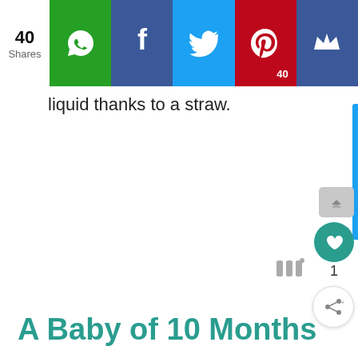40 Shares | WhatsApp | Facebook | Twitter | Pinterest 40 | Crown
liquid thanks to a straw.
A Baby of 10 Months